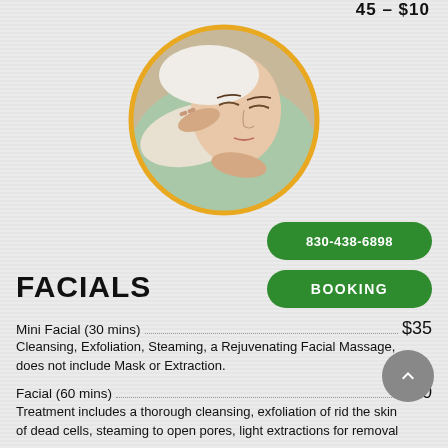45 – $10
[Figure (photo): Woman lying down receiving a facial massage, wrapped in a white towel and light green drape. Therapist's hands gently touching her face. Circular photo with golden/yellow border.]
830-438-6898
BOOKING
FACIALS
Mini Facial (30 mins) $35
Cleansing, Exfoliation, Steaming, a Rejuvenating Facial Massage, does not include Mask or Extraction.
Facial (60 mins) $60
Treatment includes a thorough cleansing, exfoliation of rid the skin of dead cells, steaming to open pores, light extractions for removal